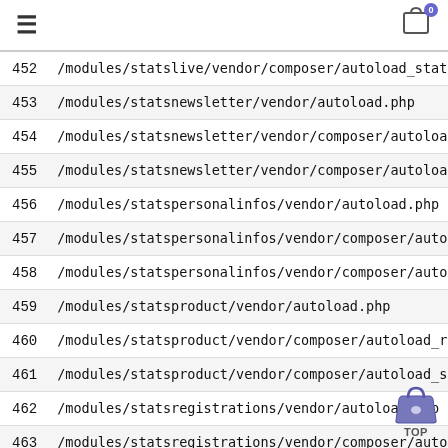≡  [cart icon with badge 0]
| # | Path |
| --- | --- |
| 452 | /modules/statslive/vendor/composer/autoload_static.php |
| 453 | /modules/statsnewsletter/vendor/autoload.php |
| 454 | /modules/statsnewsletter/vendor/composer/autoload_real.p |
| 455 | /modules/statsnewsletter/vendor/composer/autoload_static |
| 456 | /modules/statspersonalinfos/vendor/autoload.php |
| 457 | /modules/statspersonalinfos/vendor/composer/autoload_rea |
| 458 | /modules/statspersonalinfos/vendor/composer/autoload_sta |
| 459 | /modules/statsproduct/vendor/autoload.php |
| 460 | /modules/statsproduct/vendor/composer/autoload_real.php |
| 461 | /modules/statsproduct/vendor/composer/autoload_static.ph |
| 462 | /modules/statsregistrations/vendor/autoload.php |
| 463 | /modules/statsregistrations/vendor/composer/autoload_rea |